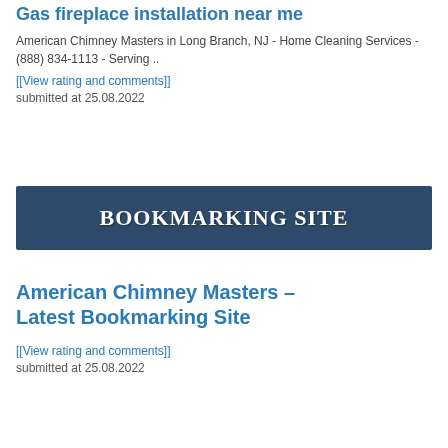Gas fireplace installation near me
American Chimney Masters in Long Branch, NJ - Home Cleaning Services - (888) 834-1113 - Serving ..
[[View rating and comments]]
submitted at 25.08.2022
[Figure (logo): Banner reading BOOKMARKING SITE in bold white serif text on a dark navy background]
American Chimney Masters – Latest Bookmarking Site
[[View rating and comments]]
submitted at 25.08.2022